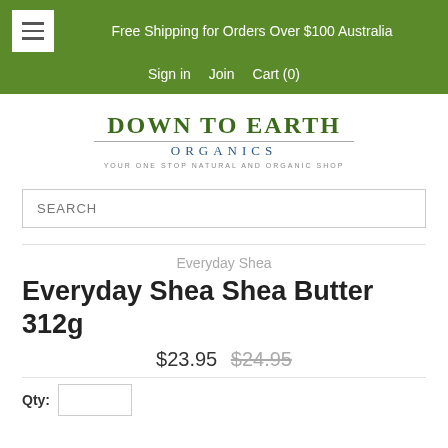Free Shipping for Orders Over $100 Australia
Sign in   Join   Cart (0)
[Figure (logo): Down To Earth Organics logo — text logo with 'DOWN TO EARTH' in green serif capitals, 'ORGANICS' in blue spaced capitals below, and tagline 'YOUR ONE STOP NATURAL AND ORGANIC SHOP' in small grey capitals.]
SEARCH
Everyday Shea
Everyday Shea Shea Butter 312g
$23.95  $24.95
Qty: